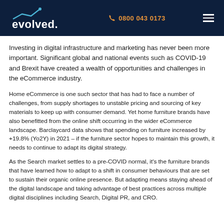evolved. | 0800 043 0173
Investing in digital infrastructure and marketing has never been more important. Significant global and national events such as COVID-19 and Brexit have created a wealth of opportunities and challenges in the eCommerce industry.
Home eCommerce is one such sector that has had to face a number of challenges, from supply shortages to unstable pricing and sourcing of key materials to keep up with consumer demand. Yet home furniture brands have also benefitted from the online shift occurring in the wider eCommerce landscape. Barclaycard data shows that spending on furniture increased by +19.8% (Yo2Y) in 2021 – if the furniture sector hopes to maintain this growth, it needs to continue to adapt its digital strategy.
As the Search market settles to a pre-COVID normal, it's the furniture brands that have learned how to adapt to a shift in consumer behaviours that are set to sustain their organic online presence. But adapting means staying ahead of the digital landscape and taking advantage of best practices across multiple digital disciplines including Search, Digital PR, and CRO.